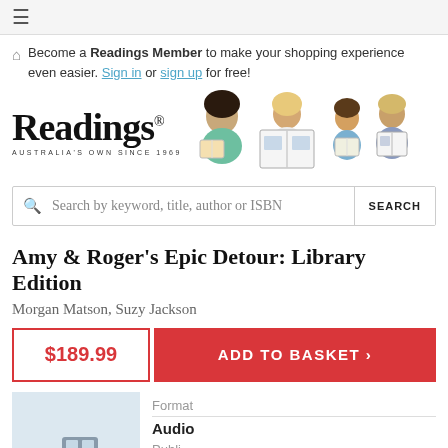☰
Become a Readings Member to make your shopping experience even easier. Sign in or sign up for free!
[Figure (logo): Readings bookstore logo with illustrated figures of people reading, text 'Readings® Australia's Own Since 1969']
Search by keyword, title, author or ISBN  SEARCH
Amy & Roger's Epic Detour: Library Edition
Morgan Matson, Suzy Jackson
$189.99
ADD TO BASKET ›
[Figure (illustration): Book cover image - light blue background with silhouette illustration]
Format
Audio
Publi